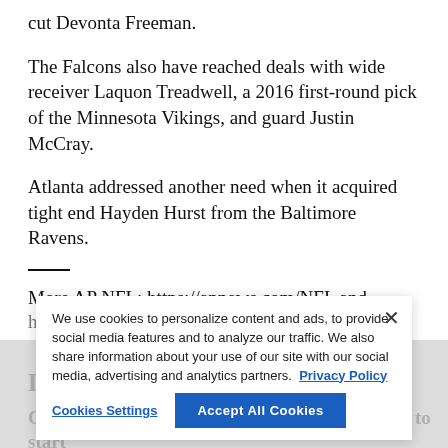cut Devonta Freeman.
The Falcons also have reached deals with wide receiver Laquon Treadwell, a 2016 first-round pick of the Minnesota Vikings, and guard Justin McCray.
Atlanta addressed another need when it acquired tight end Hayden Hurst from the Baltimore Ravens.
More AP NFL: https://apnews.com/NFL and https://twitter.com/AP_NFL
We use cookies to personalize content and ads, to provide social media features and to analyze our traffic. We also share information about your use of our site with our social media, advertising and analytics partners. Privacy Policy
Cookies Settings | Accept All Cookies